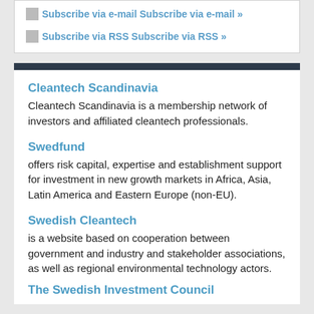Subscribe via e-mail Subscribe via e-mail »
Subscribe via RSS Subscribe via RSS »
Cleantech Scandinavia
Cleantech Scandinavia is a membership network of investors and affiliated cleantech professionals.
Swedfund
offers risk capital, expertise and establishment support for investment in new growth markets in Africa, Asia, Latin America and Eastern Europe (non-EU).
Swedish Cleantech
is a website based on cooperation between government and industry and stakeholder associations, as well as regional environmental technology actors.
The Swedish Investment Council